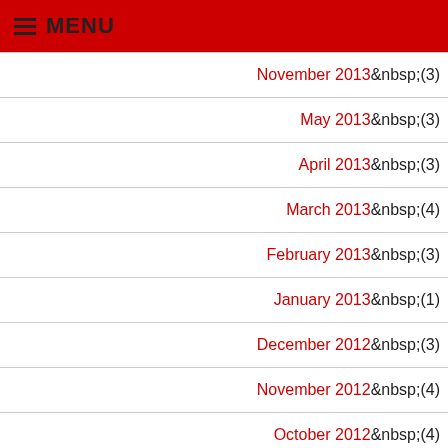MENU
November 2013 (3)
May 2013 (3)
April 2013 (3)
March 2013 (4)
February 2013 (3)
January 2013 (1)
December 2012 (3)
November 2012 (4)
October 2012 (4)